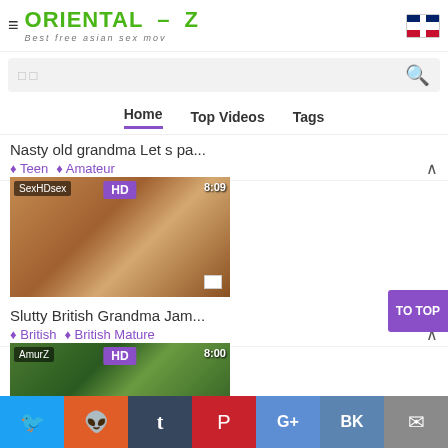ORIENTAL - Z  Best free asian sex mov
Search bar
Home  Top Videos  Tags
Nasty old grandma Let s pa...
Teen  Amateur
[Figure (photo): Video thumbnail with SexHDsex label, HD badge, 8:09 duration]
Slutty British Grandma Jam...
British  British Mature
[Figure (photo): Video thumbnail with AmurZ label, HD badge, 8:00 duration]
Twitter Reddit Tumblr Pinterest Google+ VK Email